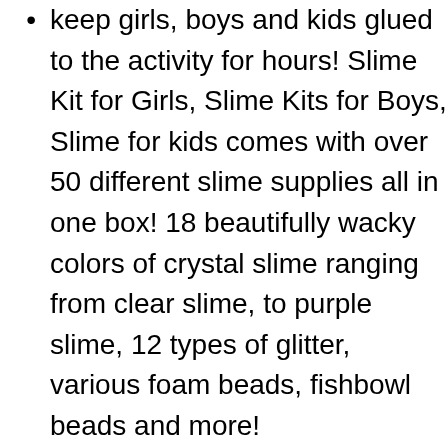keep girls, boys and kids glued to the activity for hours! Slime Kit for Girls, Slime Kits for Boys, Slime for kids comes with over 50 different slime supplies all in one box! 18 beautifully wacky colors of crystal slime ranging from clear slime, to purple slime, 12 types of glitter, various foam beads, fishbowl beads and more!
Best Slime Kit - Best selling slime kit on Amazon since 2019 | Birthday Party Favors for kids 4-8, 8-12 year old girls boys | Best gift ideas for 7, 8, 9, 10, 11, 12 year old girls...